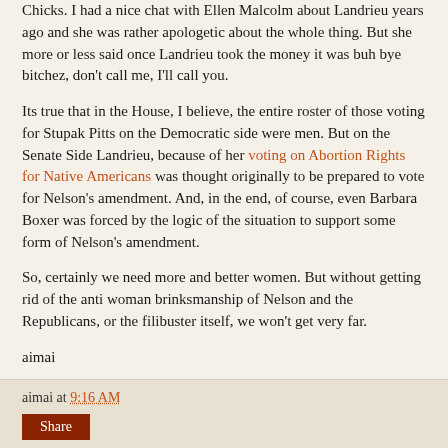Chicks. I had a nice chat with Ellen Malcolm about Landrieu years ago and she was rather apologetic about the whole thing. But she more or less said once Landrieu took the money it was buh bye bitchez, don't call me, I'll call you.
Its true that in the House, I believe, the entire roster of those voting for Stupak Pitts on the Democratic side were men. But on the Senate Side Landrieu, because of her voting on Abortion Rights for Native Americans was thought originally to be prepared to vote for Nelson's amendment. And, in the end, of course, even Barbara Boxer was forced by the logic of the situation to support some form of Nelson's amendment.
So, certainly we need more and better women. But without getting rid of the anti woman brinksmanship of Nelson and the Republicans, or the filibuster itself, we won't get very far.
aimai
aimai at 9:16 AM
Share